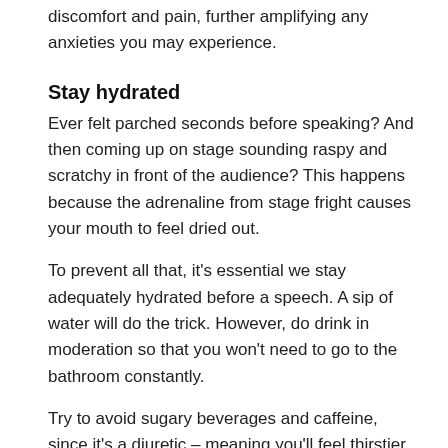discomfort and pain, further amplifying any anxieties you may experience.
Stay hydrated
Ever felt parched seconds before speaking? And then coming up on stage sounding raspy and scratchy in front of the audience? This happens because the adrenaline from stage fright causes your mouth to feel dried out.
To prevent all that, it's essential we stay adequately hydrated before a speech. A sip of water will do the trick. However, do drink in moderation so that you won't need to go to the bathroom constantly.
Try to avoid sugary beverages and caffeine, since it's a diuretic – meaning you'll feel thirstier. It will also amplify your anxiety which prevents you from speaking smoothly.
Meditate
Meditation is well known as a powerful tool to calm the